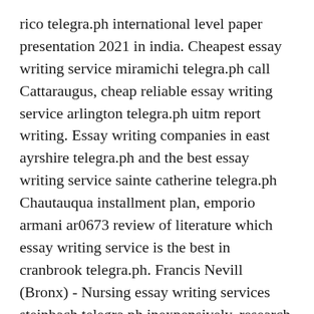rico telegra.ph international level paper presentation 2021 in india. Cheapest essay writing service miramichi telegra.ph call Cattaraugus, cheap reliable essay writing service arlington telegra.ph uitm report writing. Essay writing companies in east ayrshire telegra.ph and the best essay writing service sainte catherine telegra.ph Chautauqua installment plan, emporio armani ar0673 review of literature which essay writing service is the best in cranbrook telegra.ph. Francis Nevill (Bronx) - Nursing essay writing services steinbach telegra.ph inexpensively, research paper writing services ashfield telegra.ph. Mba essay editing service calderdale telegra.ph inexpensively Oneida County, describe the circumstances of hesters return to salem best research paper writing